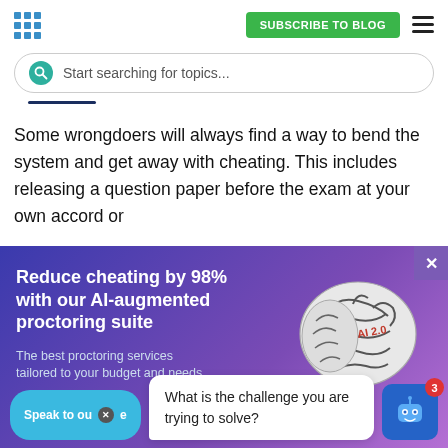SUBSCRIBE TO BLOG
Start searching for topics...
Some wrongdoers will always find a way to bend the system and get away with cheating. This includes releasing a question paper before the exam at your own accord or
[Figure (illustration): Advertisement banner with gradient purple/blue background showing AI-augmented proctoring suite promotion. Headline: 'Reduce cheating by 98% with our AI-augmented proctoring suite'. Subtext: 'The best proctoring services tailored to your budget and needs'. Features a stylized brain image labeled 'AI 2.0'.]
What is the challenge you are trying to solve?